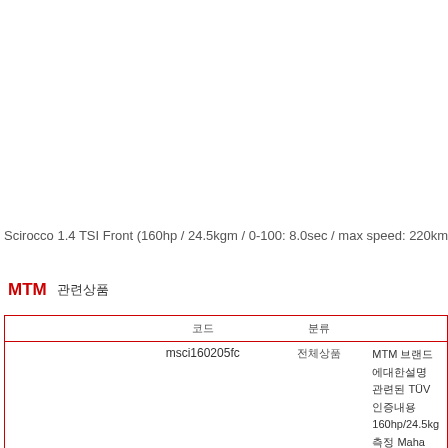Scirocco 1.4 TSI Front (160hp / 24.5kgm / 0-100: 8.0sec / max speed: 220km/
MTM 관련상품
| 코드 | 분류 |  |
| --- | --- | --- |
| msci160205fc | 전체상품 | MTM 브랜드에대한설명
관련된 TÜV 인증내용
160hp/24.5kgm
측정 Maha LPS-3
결과 209.3hp/31. |